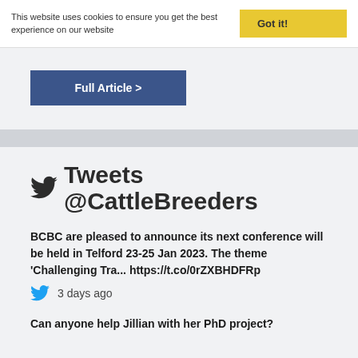This website uses cookies to ensure you get the best experience on our website
Got it!
Full Article >
Tweets @CattleBreeders
BCBC are pleased to announce its next conference will be held in Telford 23-25 Jan 2023. The theme ‘Challenging Tra... https://t.co/0rZXBHDFRp
3 days ago
Can anyone help Jillian with her PhD project?